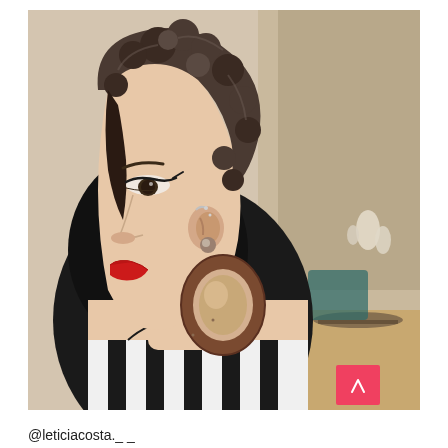[Figure (photo): Side profile photo of a young woman with short curly dark hair (pixie cut), red lips, dramatic eye makeup, wearing large brown oval hoop earrings and a black-and-white striped top. Background shows an interior room. A pink scroll-to-top button is visible in the lower right corner of the image.]
@leticiacosta._  _